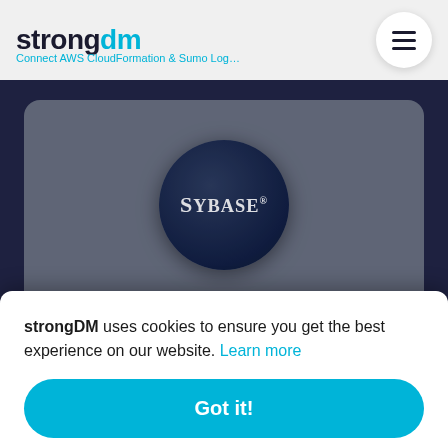strongdm — Connect AWS CloudFormation & Sumo Logic
[Figure (logo): Sybase logo: white SYBASE text in dark navy circular badge, displayed on grey card]
Connect AWS CloudFormation & Sybase
strongDM uses cookies to ensure you get the best experience on our website. Learn more
Got it!